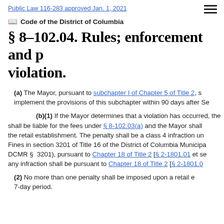Public Law 116-283 approved Jan. 1, 2021
Code of the District of Columbia
§ 8–102.04. Rules; enforcement and penalties; violation.
(a) The Mayor, pursuant to subchapter I of Chapter 5 of Title 2, shall implement the provisions of this subchapter within 90 days after Se
(b)(1) If the Mayor determines that a violation has occurred, the retail establishment shall be liable for the fees under § 8-102.03(a) and the Mayor shall notify the retail establishment. The penalty shall be a class 4 infraction under the Fines in section 3201 of Title 16 of the District of Columbia Municipal Regulations (16 DCMR § 3201), pursuant to Chapter 18 of Title 2 [§ 2-1801.01 et seq.]. Adjudication of any infraction shall be pursuant to Chapter 18 of Title 2 [§ 2-1801.0
(2) No more than one penalty shall be imposed upon a retail establishment in any 7-day period.